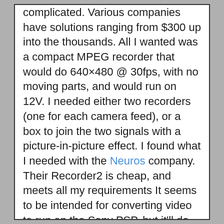complicated. Various companies have solutions ranging from $300 up into the thousands. All I wanted was a compact MPEG recorder that would do 640×480 @ 30fps, with no moving parts, and would run on 12V. I needed either two recorders (one for each camera feed), or a box to join the two signals with a picture-in-picture effect. I found what I needed with the Neuros company. Their Recorder2 is cheap, and meets all my requirements It seems to be intended for converting video to run on the Sony PSP, but it'll do what I want also. Buying two recorders was considerably cheaper than buying one and a mixer box. This has the added benefit of generating two unmodified data sources. In my experience, it's better to gather audio and video as unmolested as possible, and do all effects and mixing in post production. This leaves one small problem- synchronization. The two recording streams need to be started at the same moment, or matching up the tracks in post-production will be difficult. The solution turned out to be very